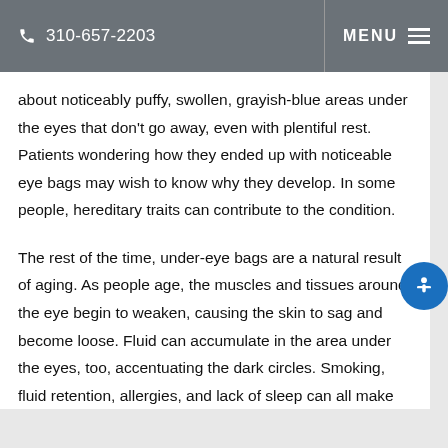310-657-2203  MENU
about noticeably puffy, swollen, grayish-blue areas under the eyes that don't go away, even with plentiful rest. Patients wondering how they ended up with noticeable eye bags may wish to know why they develop. In some people, hereditary traits can contribute to the condition.
The rest of the time, under-eye bags are a natural result of aging. As people age, the muscles and tissues around the eye begin to weaken, causing the skin to sag and become loose. Fluid can accumulate in the area under the eyes, too, accentuating the dark circles. Smoking, fluid retention, allergies, and lack of sleep can all make